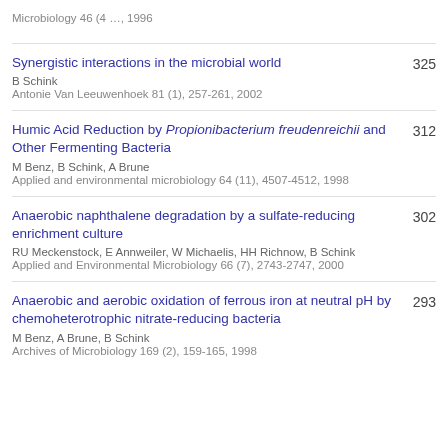Microbiology 46 (4 …, 1996
Synergistic interactions in the microbial world | B Schink | Antonie Van Leeuwenhoek 81 (1), 257-261, 2002 | 325
Humic Acid Reduction by Propionibacterium freudenreichii and Other Fermenting Bacteria | M Benz, B Schink, A Brune | Applied and environmental microbiology 64 (11), 4507-4512, 1998 | 312
Anaerobic naphthalene degradation by a sulfate-reducing enrichment culture | RU Meckenstock, E Annweiler, W Michaelis, HH Richnow, B Schink | Applied and Environmental Microbiology 66 (7), 2743-2747, 2000 | 302
Anaerobic and aerobic oxidation of ferrous iron at neutral pH by chemoheterotrophic nitrate-reducing bacteria | M Benz, A Brune, B Schink | Archives of Microbiology 169 (2), 159-165, 1998 | 293